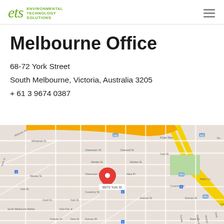ets Environmental Technology Solutions
Melbourne Office
68-72 York Street
South Melbourne, Victoria, Australia 3205
+ 61 3 9674 0387
[Figure (map): Google Maps screenshot showing South Melbourne area with a red pin marker at 68/72 York St, surrounded by streets including Market St, Clarendon St, York St, Coventry St, and Dorcas St. Yellow highlighted roads indicate major routes including Kings Way.]